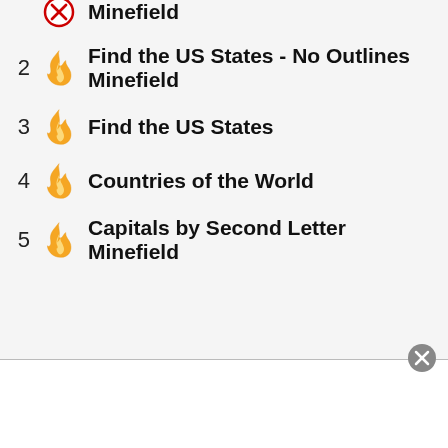Minefield
2  Find the US States - No Outlines Minefield
3  Find the US States
4  Countries of the World
5  Capitals by Second Letter Minefield